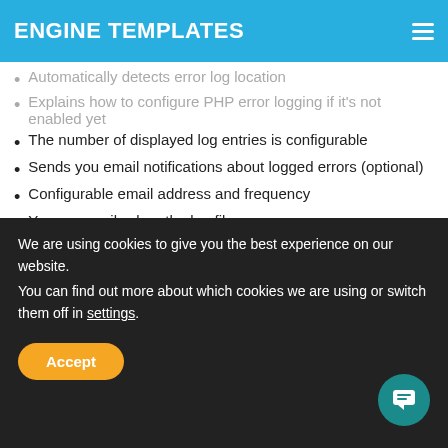ENGINE TEMPLATES
Automatically detects error log location
Explains how to configure PHP error logging if it's not enabled yet
The number of displayed log entries is configurable
Sends you email notifications about logged errors (optional)
Configurable email address and frequency
You can easily clear the log file
The dashboard widget is only visible to administrators
Optimized to work well even with very large log files
Highlights:
Easy to use
Highly security
We are using cookies to give you the best experience on our website.
You can find out more about which cookies we are using or switch them off in settings.